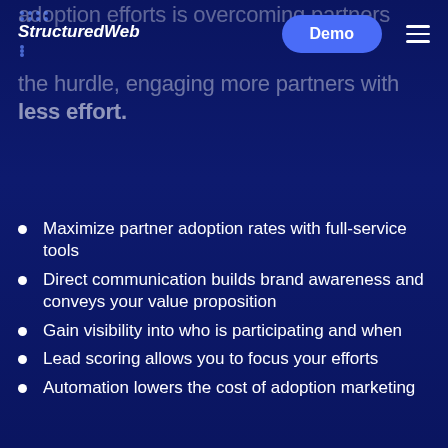adoption efforts is overcoming partners
[Figure (logo): StructuredWeb logo with dot grid pattern above and below italic bold text]
the hurdle, engaging more partners with less effort.
Maximize partner adoption rates with full-service tools
Direct communication builds brand awareness and conveys your value proposition
Gain visibility into who is participating and when
Lead scoring allows you to focus your efforts
Automation lowers the cost of adoption marketing